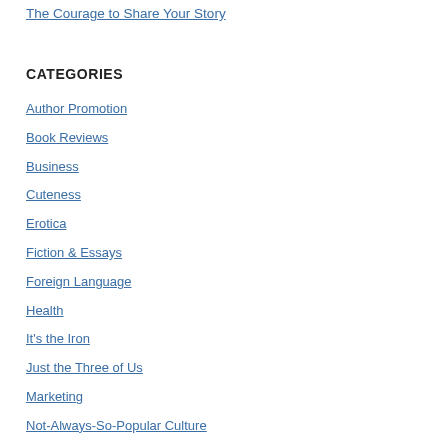The Courage to Share Your Story
CATEGORIES
Author Promotion
Book Reviews
Business
Cuteness
Erotica
Fiction & Essays
Foreign Language
Health
It's the Iron
Just the Three of Us
Marketing
Not-Always-So-Popular Culture
On Hearing of My Mother's Death Six Years After It Happened
Sales